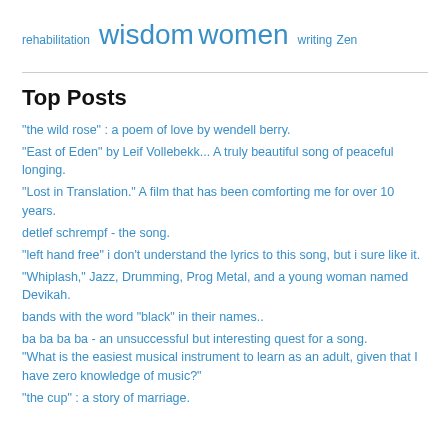rehabilitation wisdom women writing Zen
Top Posts
"the wild rose" : a poem of love by wendell berry.
"East of Eden" by Leif Vollebekk... A truly beautiful song of peaceful longing.
"Lost in Translation." A film that has been comforting me for over 10 years.
detlef schrempf - the song.
"left hand free" i don't understand the lyrics to this song, but i sure like it.
"Whiplash," Jazz, Drumming, Prog Metal, and a young woman named Devikah.
bands with the word "black" in their names..
ba ba ba ba - an unsuccessful but interesting quest for a song.
"What is the easiest musical instrument to learn as an adult, given that I have zero knowledge of music?"
"the cup" : a story of marriage.